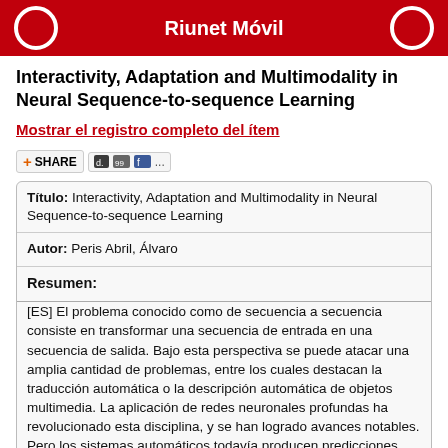Riunet Móvil
Interactivity, Adaptation and Multimodality in Neural Sequence-to-sequence Learning
Mostrar el registro completo del ítem
| Field | Value |
| --- | --- |
| Título: | Interactivity, Adaptation and Multimodality in Neural Sequence-to-sequence Learning |
| Autor: | Peris Abril, Álvaro |
| Resumen: | [ES] El problema conocido como de secuencia a secuencia consiste en transformar una secuencia de entrada en una secuencia de salida. Bajo esta perspectiva se puede atacar una amplia cantidad de problemas, entre los cuales destacan la traducción automática o la descripción automática de objetos multimedia. La aplicación de redes neuronales profundas ha revolucionado esta disciplina, y se han logrado avances notables. Pero los sistemas automáticos todavía producen predicciones que distan mucho de ser perfectas. Para obtener predicciones de gran calidad, los sistemas automáticos se utilizan bajo la supervisión de un humano, quien corrige los errores. Esta tesis se centra principalmente en el problema de la traducción del lenguaje natural, usando |